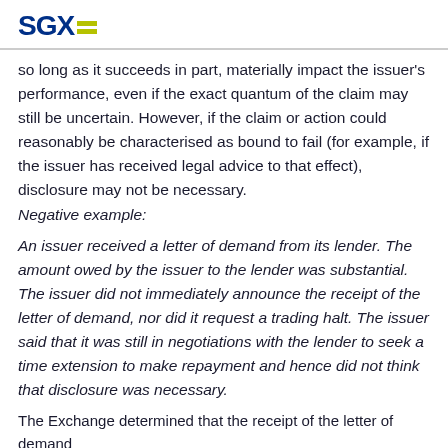SGX
so long as it succeeds in part, materially impact the issuer's performance, even if the exact quantum of the claim may still be uncertain. However, if the claim or action could reasonably be characterised as bound to fail (for example, if the issuer has received legal advice to that effect), disclosure may not be necessary.
Negative example:
An issuer received a letter of demand from its lender. The amount owed by the issuer to the lender was substantial. The issuer did not immediately announce the receipt of the letter of demand, nor did it request a trading halt. The issuer said that it was still in negotiations with the lender to seek a time extension to make repayment and hence did not think that disclosure was necessary.
The Exchange determined that the receipt of the letter of demand